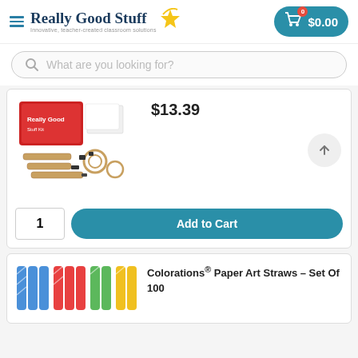[Figure (logo): Really Good Stuff logo with star and tagline: Innovative, teacher-created classroom solutions]
$0.00
What are you looking for?
$13.39
[Figure (photo): Wooden building/engineering kit toy with gears, planks, and small black pieces, with red box packaging and instruction cards]
Add to Cart
Colorations® Paper Art Straws – Set Of 100
[Figure (photo): Colorful striped paper art straws in blue, red, green, and yellow colors]